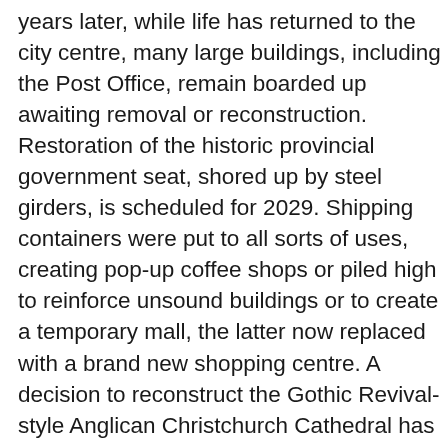years later, while life has returned to the city centre, many large buildings, including the Post Office, remain boarded up awaiting removal or reconstruction. Restoration of the historic provincial government seat, shored up by steel girders, is scheduled for 2029. Shipping containers were put to all sorts of uses, creating pop-up coffee shops or piled high to reinforce unsound buildings or to create a temporary mall, the latter now replaced with a brand new shopping centre. A decision to reconstruct the Gothic Revival-style Anglican Christchurch Cathedral has only just been taken, the ruins of this landmark sitting as a painful reminder of the devastation. We were intrigued by the transitional “Cardboard Cathedral”, designed by Shigeru Ban and rapidly constructed using reinforced cardboard tubes, timber and steel, with eight shipping containers  forming the walls. Nearby is an outdoor installation of 182 white chairs donated by relatives of those who died. 115 of these deaths occurred when the 6-storey CTV building, declared safe in December 2010, collapsed and caught fire in the February quake.